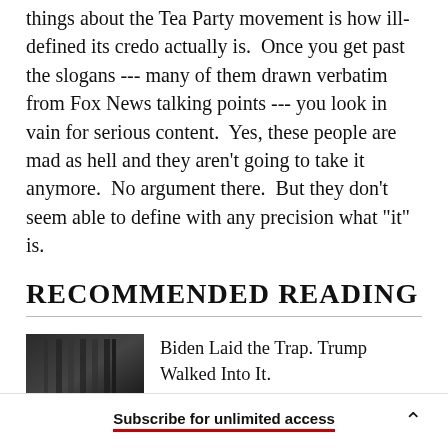things about the Tea Party movement is how ill-defined its credo actually is.  Once you get past the slogans --- many of them drawn verbatim from Fox News talking points --- you look in vain for serious content.  Yes, these people are mad as hell and they aren't going to take it anymore.  No argument there.  But they don't seem able to define with any precision what "it" is.
RECOMMENDED READING
[Figure (photo): Dark thumbnail image of what appears to be a flag or fabric texture in black and white]
Biden Laid the Trap. Trump Walked Into It.
Subscribe for unlimited access